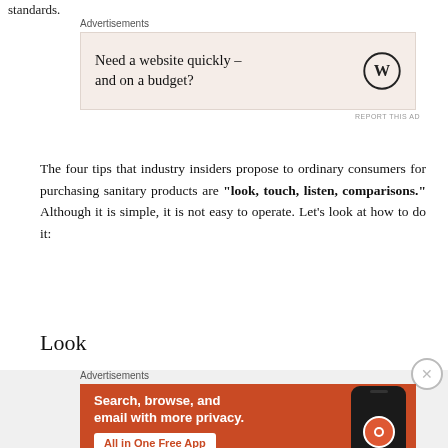standards.
Advertisements
[Figure (other): WordPress advertisement: 'Need a website quickly – and on a budget?' with WordPress logo on beige background]
The four tips that industry insiders propose to ordinary consumers for purchasing sanitary products are "look, touch, listen, comparisons." Although it is simple, it is not easy to operate. Let's look at how to do it:
Look
Advertisements
[Figure (other): DuckDuckGo advertisement: 'Search, browse, and email with more privacy. All in One Free App' on orange background with phone graphic showing DuckDuckGo logo]